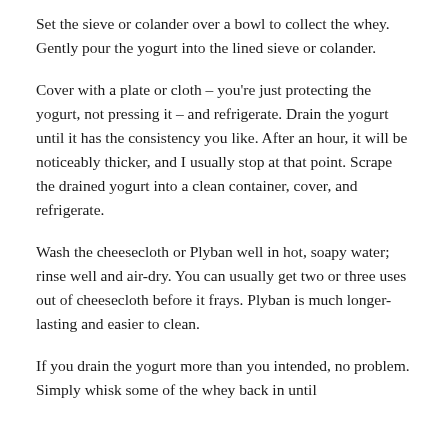Set the sieve or colander over a bowl to collect the whey. Gently pour the yogurt into the lined sieve or colander.
Cover with a plate or cloth – you're just protecting the yogurt, not pressing it – and refrigerate. Drain the yogurt until it has the consistency you like. After an hour, it will be noticeably thicker, and I usually stop at that point. Scrape the drained yogurt into a clean container, cover, and refrigerate.
Wash the cheesecloth or Plyban well in hot, soapy water; rinse well and air-dry. You can usually get two or three uses out of cheesecloth before it frays. Plyban is much longer-lasting and easier to clean.
If you drain the yogurt more than you intended, no problem. Simply whisk some of the whey back in until